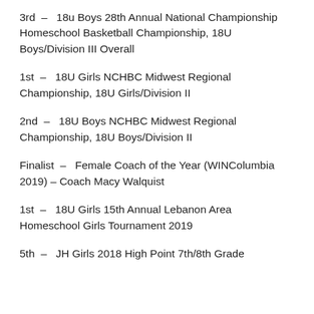3rd – 18u Boys 28th Annual National Championship Homeschool Basketball Championship, 18U Boys/Division III Overall
1st – 18U Girls NCHBC Midwest Regional Championship, 18U Girls/Division II
2nd – 18U Boys NCHBC Midwest Regional Championship, 18U Boys/Division II
Finalist – Female Coach of the Year (WINColumbia 2019) – Coach Macy Walquist
1st – 18U Girls 15th Annual Lebanon Area Homeschool Girls Tournament 2019
5th – JH Girls 2018 High Point 7th/8th Grade